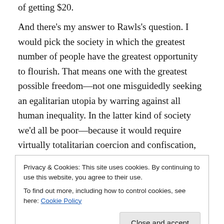of getting $20. And there's my answer to Rawls's question. I would pick the society in which the greatest number of people have the greatest opportunity to flourish. That means one with the greatest possible freedom—not one misguidedly seeking an egalitarian utopia by warring against all human inequality. In the latter kind of society we'd all be poor—because it would require virtually totalitarian coercion and confiscation, negating the incentive to be productive. Rawls (like many on the Left) is greatly concerned with societal distribution of goods and wealth, but not with the
Privacy & Cookies: This site uses cookies. By continuing to use this website, you agree to their use.
To find out more, including how to control cookies, see here: Cookie Policy
goal. The correct aim, instead, is to provide equality of